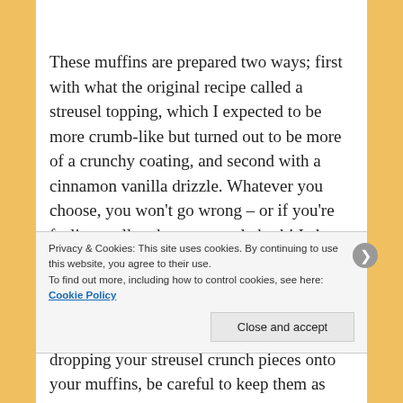These muffins are prepared two ways; first with what the original recipe called a streusel topping, which I expected to be more crumb-like but turned out to be more of a crunchy coating, and second with a cinnamon vanilla drizzle. Whatever you choose, you won't go wrong – or if you're feeling really adventurous, do both! I chose to put the streusel crunch on the first batch, and went with the glaze on the second batch because some of my streusel crunch-coated muffins burned at the edges a bit. When dropping your streusel crunch pieces onto your muffins, be careful to keep them as close to the center as possible, as
Privacy & Cookies: This site uses cookies. By continuing to use this website, you agree to their use.
To find out more, including how to control cookies, see here: Cookie Policy
Close and accept